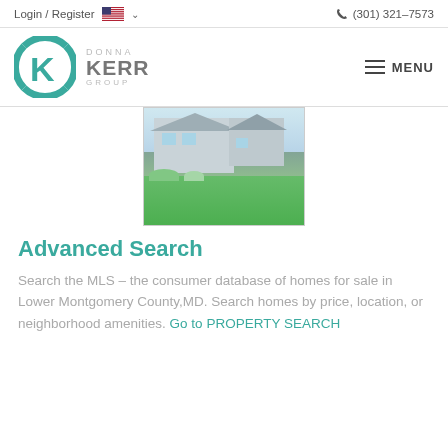Login / Register   (301) 321-7573
[Figure (logo): Donna Kerr Group logo with teal K letter mark and text DONNA KERR GROUP]
[Figure (photo): Suburban house with grey siding, white trim, manicured green lawn, trees and flowers in the foreground]
Advanced Search
Search the MLS – the consumer database of homes for sale in Lower Montgomery County, MD. Search homes by price, location, or neighborhood amenities. Go to PROPERTY SEARCH